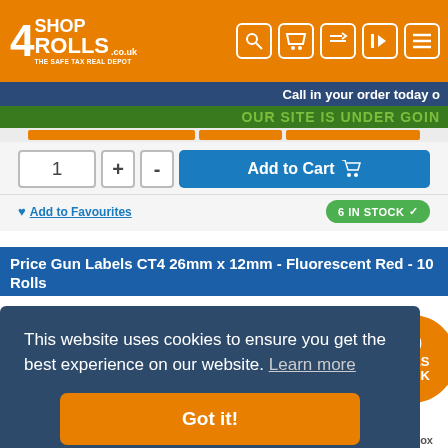[Figure (screenshot): Shop4Rolls website header with orange background, logo on left, navigation icons on right]
Call in your order today o
OUR SITE IS UNDER GOIN
1
+
-
Add to Cart
Add to Favourites
6 IN STOCK ✓
Price Gun Labels CT4 26mm x 12mm - Fluorescent Red - 10 Rolls
This website uses cookies to ensure you get the best experience on our website. Learn more
Got it!
10 ROLLS PACK
26mm x 12mm
Price Per Box